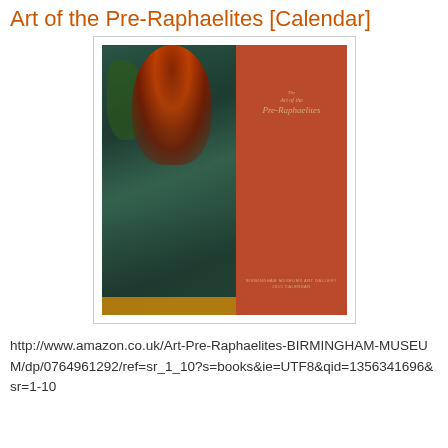Art of the Pre-Raphaelites [Calendar]
[Figure (photo): Cover image of a calendar titled 'The Art of the Pre-Raphaelites'. Shows a Pre-Raphaelite painting of a woman with red/auburn hair wearing teal drapery, with green foliage on the left and a rust-red background on the right with golden script text and '2015 CALENDAR' at bottom.]
http://www.amazon.co.uk/Art-Pre-Raphaelites-BIRMINGHAM-MUSEUM/dp/0764961292/ref=sr_1_10?s=books&ie=UTF8&qid=1356341696&sr=1-10